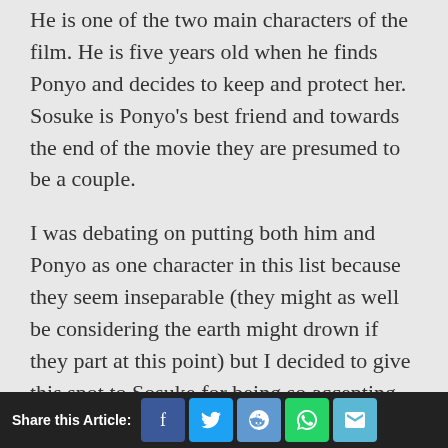He is one of the two main characters of the film. He is five years old when he finds Ponyo and decides to keep and protect her. Sosuke is Ponyo's best friend and towards the end of the movie they are presumed to be a couple.

I was debating on putting both him and Ponyo as one character in this list because they seem inseparable (they might as well be considering the earth might drown if they part at this point) but I decided to give this spot to Sosuke for being so accepting despite his tender age (but that might be the reason why he is accepting). He finds a magical fish near
Share this Article: [Facebook] [Twitter] [Reddit] [WhatsApp] [Email]